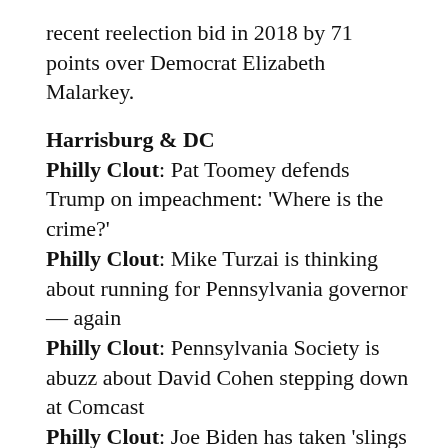recent reelection bid in 2018 by 71 points over Democrat Elizabeth Malarkey.
Harrisburg & DC
Philly Clout: Pat Toomey defends Trump on impeachment: 'Where is the crime?'
Philly Clout: Mike Turzai is thinking about running for Pennsylvania governor — again
Philly Clout: Pennsylvania Society is abuzz about David Cohen stepping down at Comcast
Philly Clout: Joe Biden has taken 'slings and arrows' but stayed strong for 2020, Ed Rendell says
Philly Clout: At a packed Pennsylvania Society cocktail party, one guest wanted out. So she was born a month early
AP: Pence to make fourth visit to Pennsylvania this…